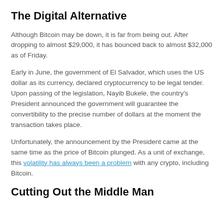The Digital Alternative
Although Bitcoin may be down, it is far from being out. After dropping to almost $29,000, it has bounced back to almost $32,000 as of Friday.
Early in June, the government of El Salvador, which uses the US dollar as its currency, declared cryptocurrency to be legal tender. Upon passing of the legislation, Nayib Bukele, the country's President announced the government will guarantee the convertibility to the precise number of dollars at the moment the transaction takes place.
Unfortunately, the announcement by the President came at the same time as the price of Bitcoin plunged. As a unit of exchange, this volatility has always been a problem with any crypto, including Bitcoin.
Cutting Out the Middle Man